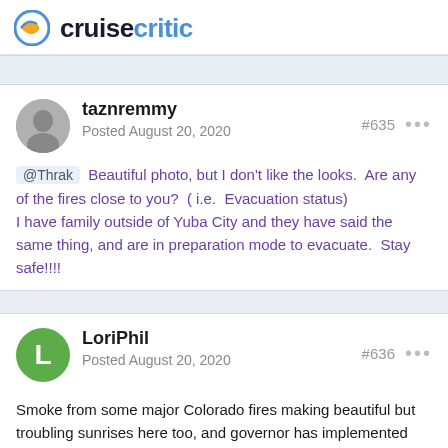cruisecritic
taznremmy
Posted August 20, 2020
#635
@Thrak  Beautiful photo, but I don't like the looks.  Are any of the fires close to you?  ( i.e.  Evacuation status)
I have family outside of Yuba City and they have said the same thing, and are in preparation mode to evacuate.  Stay safe!!!!
LoriPhil
Posted August 20, 2020
#636
Smoke from some major Colorado fires making beautiful but troubling sunrises here too, and governor has implemented no-open fire restrictions for the next month since everything's so dry and many regions are thick